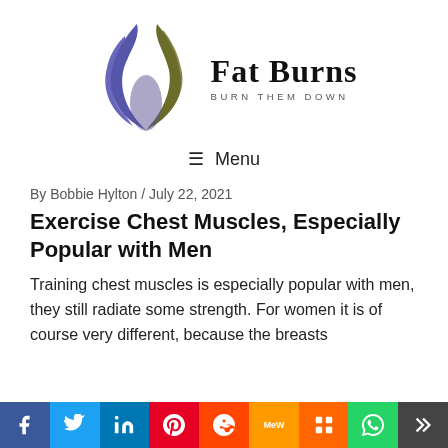[Figure (logo): Fat Burns logo with stylized flame in purple and olive/brown colors, with text 'Fat Burns' and tagline 'BURN THEM DOWN']
≡ Menu
By Bobbie Hylton / July 22, 2021
Exercise Chest Muscles, Especially Popular with Men
Training chest muscles is especially popular with men, they still radiate some strength. For women it is of course very different, because the breasts
[Figure (other): Social sharing bar with buttons for Facebook, Twitter, LinkedIn, Pinterest, Reddit, MeWe, Mix, WhatsApp, More]